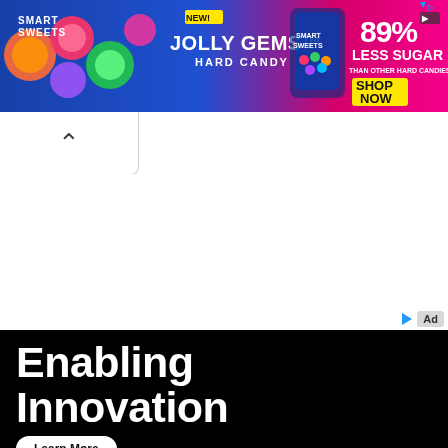[Figure (illustration): Smart Sweets Jolly Gems Hard Candy advertisement banner. Blue/pink gradient background with colorful candy illustrations. Text: 'NEW! JOLLY GEMS™ HARD CANDY'. Right side shows '89% LESS SUGAR THAN OTHER HARD CANDIES' with a yellow 'SHOP NOW' box. Adchoices icon top right.]
[Figure (other): Collapse/hide button with a caret/chevron up arrow (^) on a white rounded rectangle background, positioned below the top banner.]
[Figure (illustration): Advertisement banner with black background. Large white bold text reading 'Enabling Innovation'. A white rounded pill-shaped 'Learn More' button at the bottom left. Adchoices play triangle icon and 'Ad' badge in top right corner.]